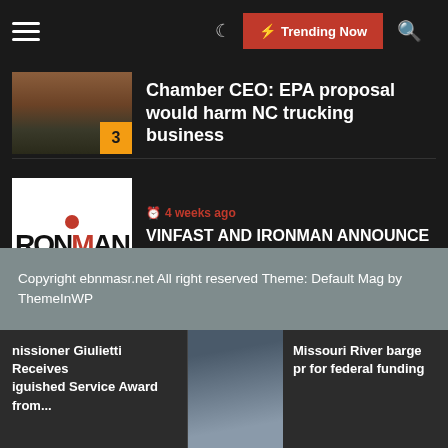Trending Now
3 Chamber CEO: EPA proposal would harm NC trucking business
4 weeks ago — VINFAST AND IRONMAN ANNOUNCE A GROUNDBREAKIN...
4 weeks ago — U.S. Senate Preps Extra Cash for Auto Trade
Copyright ebnmasr.net All right reserved Theme: Default Mag by ThemeInWP
nissioner Giulietti Receives iguished Service Award from...
Missouri River barge pr for federal funding